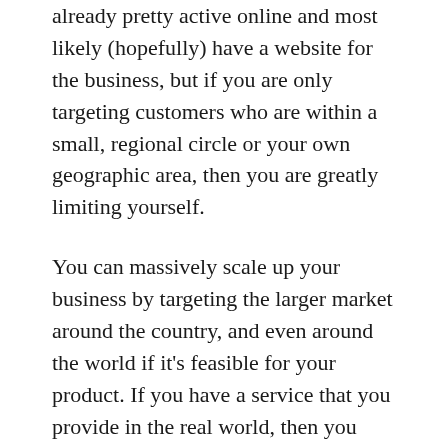already pretty active online and most likely (hopefully) have a website for the business, but if you are only targeting customers who are within a small, regional circle or your own geographic area, then you are greatly limiting yourself.
You can massively scale up your business by targeting the larger market around the country, and even around the world if it's feasible for your product. If you have a service that you provide in the real world, then you obviously can't get to any location around the country, unless you actually have teams in those places.
You can, however, at least market your service online to reach customers in your service area, as